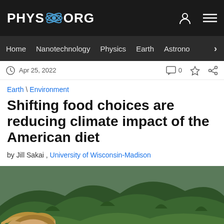PHYS.ORG
Home | Nanotechnology | Physics | Earth | Astronomy
Apr 25, 2022
Earth \ Environment
Shifting food choices are reducing climate impact of the American diet
by Jill Sakai , University of Wisconsin-Madison
[Figure (photo): Person with windblown hair outdoors against green mountainous landscape background]